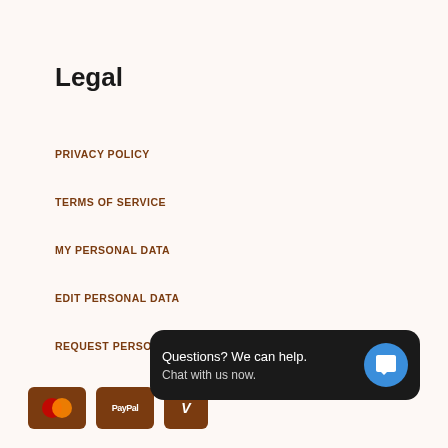Legal
PRIVACY POLICY
TERMS OF SERVICE
MY PERSONAL DATA
EDIT PERSONAL DATA
REQUEST PERSONAL DATA
Contact Us
Perfumes Online Ireland
info@perfumesonline.ie
[Figure (other): Payment method icons: MasterCard, PayPal, Visa displayed in brown rounded rectangles at the bottom of the page]
Questions? We can help.
Chat with us now.